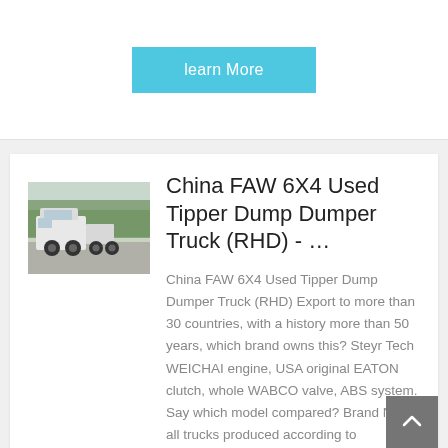[Figure (other): A cyan/light-blue 'learn More' button]
[Figure (photo): Photo of a white FAW 6X4 truck/tractor unit parked outdoors with trees in the background]
China FAW 6X4 Used Tipper Dump Dumper Truck (RHD) - …
China FAW 6X4 Used Tipper Dump Dumper Truck (RHD) Export to more than 30 countries, with a history more than 50 years, which brand owns this? Steyr Tech WEICHAI engine, USA original EATON clutch, whole WABCO valve, ABS system. Say which model compared? Brand New, all trucks produced according to